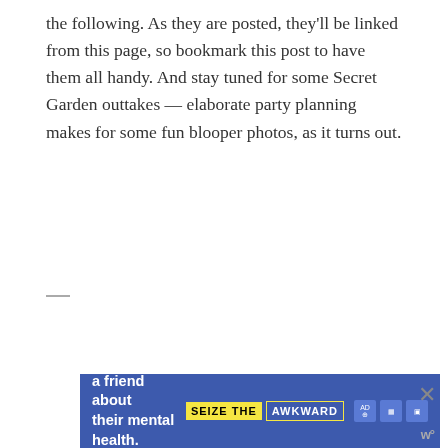the following. As they are posted, they'll be linked from this page, so bookmark this post to have them all handy. And stay tuned for some Secret Garden outtakes — elaborate party planning makes for some fun blooper photos, as it turns out.
[Figure (other): Advertisement placeholder box with 'ADVERTISEMENT' label and three gray loading dots in center]
[Figure (other): Banner advertisement: 'Reach out to a friend about their mental health. Learn more' with 'SEIZE THE AWKWARD' badge and sponsor logos, blue background with close X button]